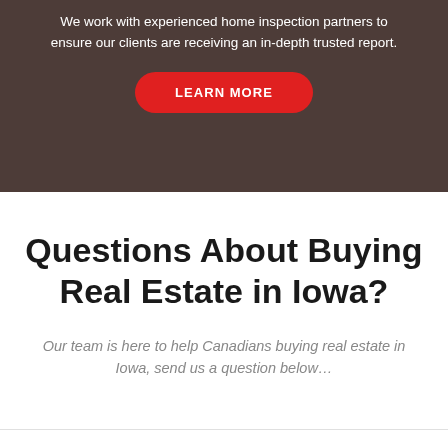We work with experienced home inspection partners to ensure our clients are receiving an in-depth trusted report.
LEARN MORE
Questions About Buying Real Estate in Iowa?
Our team is here to help Canadians buying real estate in Iowa, send us a question below…